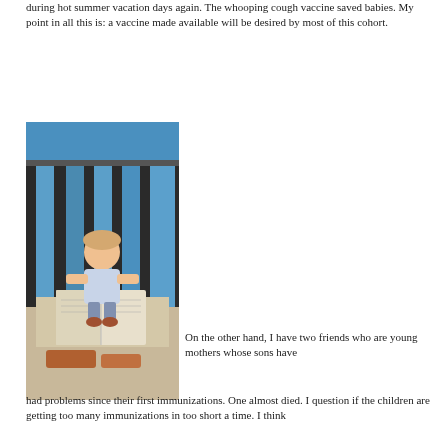during hot summer vacation days again. The whooping cough vaccine saved babies. My point in all this is: a vaccine made available will be desired by most of this cohort.
[Figure (photo): A young girl sitting on a bed reading a large book, with a blue wall and dark furniture in the background.]
On the other hand, I have two friends who are young mothers whose sons have had problems since their first immunizations. One almost died. I question if the children are getting too many immunizations in too short a time. I think